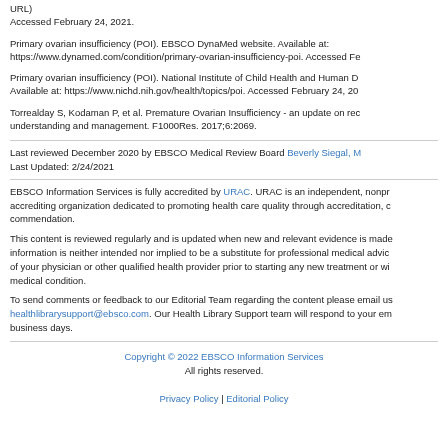URL)
Accessed February 24, 2021.
Primary ovarian insufficiency (POI). EBSCO DynaMed website. Available at: https://www.dynamed.com/condition/primary-ovarian-insufficiency-poi. Accessed Fe...
Primary ovarian insufficiency (POI). National Institute of Child Health and Human D... Available at: https://www.nichd.nih.gov/health/topics/poi. Accessed February 24, 20...
Torrealday S, Kodaman P, et al. Premature Ovarian Insufficiency - an update on rec... understanding and management. F1000Res. 2017;6:2069.
Last reviewed December 2020 by EBSCO Medical Review Board Beverly Siegal, M...
Last Updated: 2/24/2021
EBSCO Information Services is fully accredited by URAC. URAC is an independent, nonpr... accrediting organization dedicated to promoting health care quality through accreditation, c... commendation.
This content is reviewed regularly and is updated when new and relevant evidence is made... information is neither intended nor implied to be a substitute for professional medical advic... of your physician or other qualified health provider prior to starting any new treatment or wi... medical condition.
To send comments or feedback to our Editorial Team regarding the content please email us... healthlibrarysupport@ebsco.com. Our Health Library Support team will respond to your em... business days.
Copyright © 2022 EBSCO Information Services
All rights reserved.
Privacy Policy | Editorial Policy